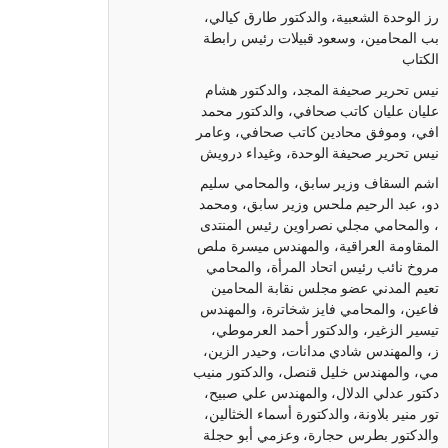رز الوحدة الشعبية، والدكتور طارق كيالي، بب المحامين، وسعود قبيلات رئيس رابطة الكتاب
نيس تحرير صحيفة المجد، والدكتور هشام عليان عليان كاتب صحافي، والدكتور محمد افي، وموفق محادين كاتب صحافي، وعامر نيس تحرير صحيفة الوحدة، وغيداء درويش
اشم السقاف وزير سابق، والمحامي سليم دو، عبد الرحيم ملحس وزير سابق، ومحمد ، والمحامي مجلي نصراوين رئيس المنتدى المقاومة العراقية، والمهندس ميسرة ملص مروخ نائب رئيس اتحاد المرأة، والمحامي تعيم المدني عضو مجلس نقابة المحامين فاعين، والمحامي فايز شخاترة، والمهندس تيسير الزغير، والدكتور أحمد العرموطي، ز، والمهندس شادي مدانات، وحيدر الزين، مي، والمهندس خليل قنصل، والدكتور منيب دكتور عدلي الدلال، والمهندس علي صبيح، تور منير بلاونة، والدكتورة أسماء الخثالين، والدكتور بطرس حجارة، وعزمي أبو حجلة
ذه الرسالة شيعي واحد ... فالمسلمون هنا كلهم من السن
May 12th, 2008, 5:34 am
AVERROES said:
What everyone seems to be ignoring is